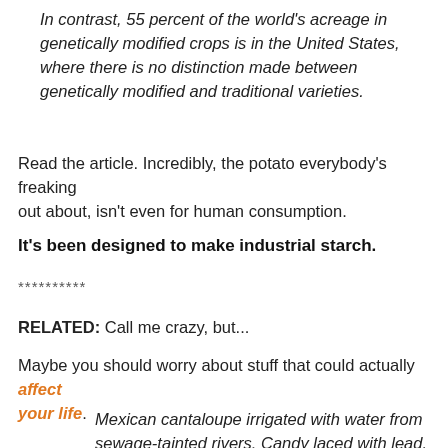In contrast, 55 percent of the world's acreage in genetically modified crops is in the United States, where there is no distinction made between genetically modified and traditional varieties.
Read the article. Incredibly, the potato everybody's freaking out about, isn't even for human consumption.
It's been designed to make industrial starch.
**********
RELATED: Call me crazy, but...
Maybe you should worry about stuff that could actually affect your life.
Mexican cantaloupe irrigated with water from sewage-tainted rivers. Candy laced with lead.
Producers in other developing nations are notorious violators of basic food-safety standards, more than anyone can cope with